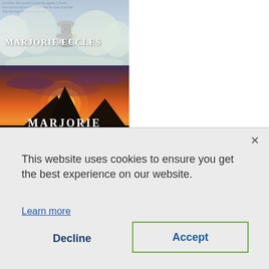[Figure (photo): Book covers by Marjorie Eccles. Top cover shows a winter garden scene with stone urn and the author name 'MARJORIE ECCLES'. Bottom cover shows Egyptian pyramids at sunset with partial author text 'MARJORIE' visible at the bottom edge.]
This website uses cookies to ensure you get the best experience on our website.
Learn more
Decline
Accept